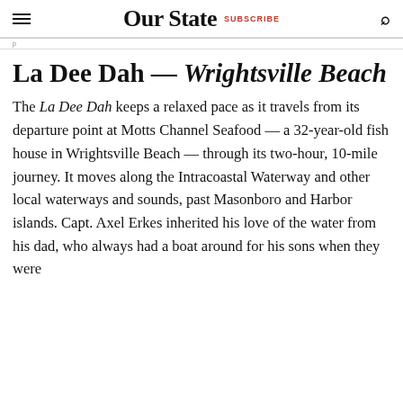Our State  SUBSCRIBE
La Dee Dah — Wrightsville Beach
The La Dee Dah keeps a relaxed pace as it travels from its departure point at Motts Channel Seafood — a 32-year-old fish house in Wrightsville Beach — through its two-hour, 10-mile journey. It moves along the Intracoastal Waterway and other local waterways and sounds, past Masonboro and Harbor islands. Capt. Axel Erkes inherited his love of the water from his dad, who always had a boat around for his sons when they were